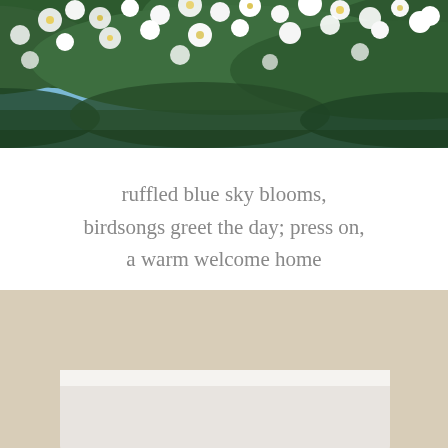[Figure (photo): Photo of white and yellow flowering tree branches against a blue sky, cropped at bottom, centered on the page]
ruffled blue sky blooms,
birdsongs greet the day; press on,
a warm welcome home
[Figure (photo): Photo of a small black fluffy puppy sitting between a person's feet wearing blue and neon yellow running shoes, on a patterned rug near a white baseboard]